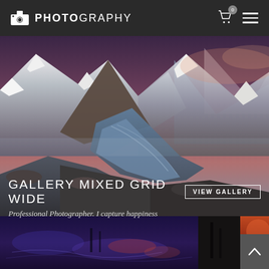PHOTOGRAPHY
[Figure (photo): Aerial landscape photograph of a large glacier winding between snow-capped mountains under a purple and pink sunset sky]
GALLERY MIXED GRID WIDE
VIEW GALLERY
Professional Photographer. I capture happiness
[Figure (photo): Bottom strip: reflective purple-tinted lake at dusk on the left, dark silhouette on center, orange-tinted landscape on right]